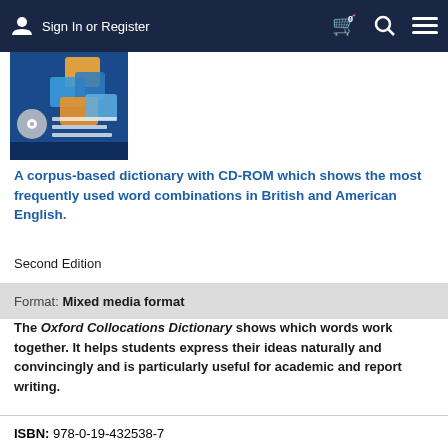Sign In or Register
[Figure (photo): Book cover of Oxford Collocations Dictionary with CD-ROM, showing puzzle pieces on a blue background]
A corpus-based dictionary with CD-ROM which shows the most frequently used word combinations in British and American English.
Second Edition
Format: Mixed media format
The Oxford Collocations Dictionary shows which words work together. It helps students express their ideas naturally and convincingly and is particularly useful for academic and report writing.
ISBN: 978-0-19-432538-7